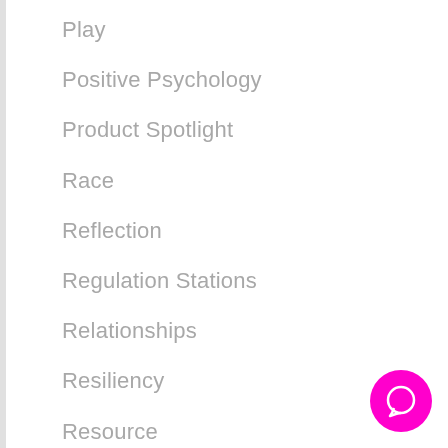Play
Positive Psychology
Product Spotlight
Race
Reflection
Regulation Stations
Relationships
Resiliency
Resource